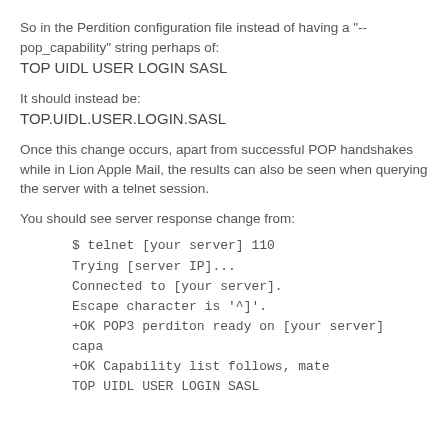So in the Perdition configuration file instead of having a "--pop_capability" string perhaps of:
TOP UIDL USER LOGIN SASL
It should instead be:
TOP.UIDL.USER.LOGIN.SASL
Once this change occurs, apart from successful POP handshakes while in Lion Apple Mail, the results can also be seen when querying the server with a telnet session.
You should see server response change from:
$ telnet [your server] 110
Trying [server IP]...
Connected to [your server].
Escape character is '^]'.
+OK POP3 perditon ready on [your server]
capa
+OK Capability list follows, mate
TOP UIDL USER LOGIN SASL